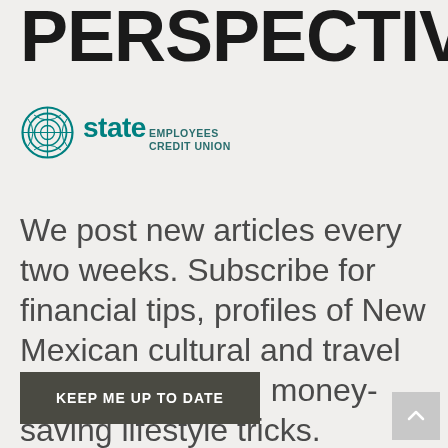PERSPECTIVE
[Figure (logo): State Employees Credit Union logo with circular icon and teal text]
We post new articles every two weeks. Subscribe for financial tips, profiles of New Mexican cultural and travel destinations, and money-saving lifestyle tricks.
KEEP ME UP TO DATE